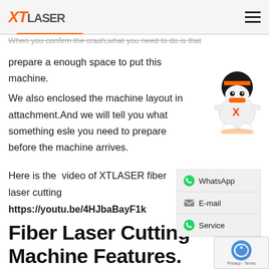XTlaser
When you confirm the crash,what you need to do is that prepare a enough space to put this machine.
We also enclosed the machine layout in attachment.And we will tell you what something esle you need to prepare before the machine arrives.
[Figure (illustration): XT Laser robot mascot character in white with orange accents]
Here is the video of XTLASER fiber laser cutting machine:
https://youtu.be/4HJbaBayF1k
Fiber Laser Cutting Machine Features.
Firstly. Low cost, the laser consumes only 6-9 degree per hour. It can blow air to cut various metal plates.